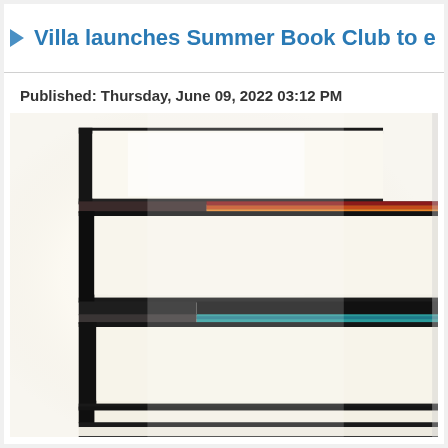Villa launches Summer Book Club to encoura
Published: Thursday, June 09, 2022 03:12 PM
[Figure (photo): Stack of books photographed from the side, showing multiple book spines and pages fanned out, with a bright overexposed white background giving a high-key effect. Books have black, white, and one teal/blue spine visible.]